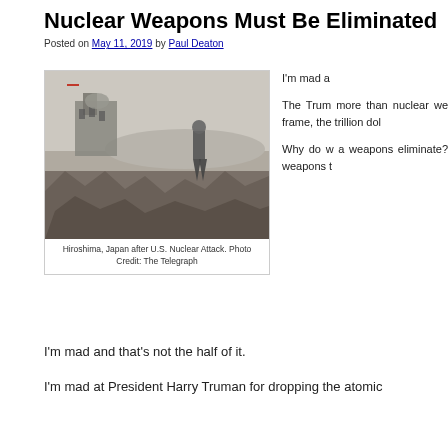Nuclear Weapons Must Be Eliminated
Posted on May 11, 2019 by Paul Deaton
[Figure (photo): Black and white photograph of Hiroshima, Japan after U.S. Nuclear Attack. A person stands amid rubble and destroyed buildings.]
Hiroshima, Japan after U.S. Nuclear Attack. Photo Credit: The Telegraph
I'm mad a...
The Trum... more than... nuclear we... frame, the... trillion dol...
Why do w... a weapons... eliminate?... weapons t...
I'm mad and that's not the half of it.
I'm mad at President Harry Truman for dropping the atomic...